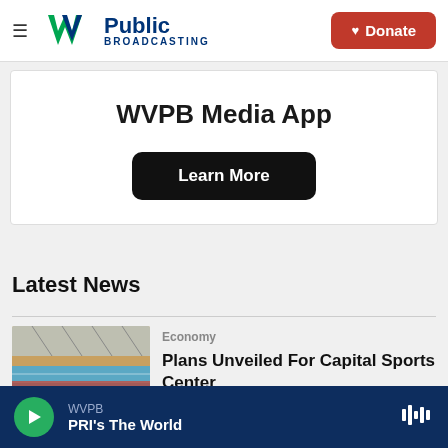[Figure (logo): WVPB Public Broadcasting logo with W/V chevron mark and Donate button]
WVPB Media App
Learn More
Latest News
[Figure (photo): Sports arena interior showing swimming pool and red seating]
Economy
Plans Unveiled For Capital Sports Center
WVPB — PRI's The World